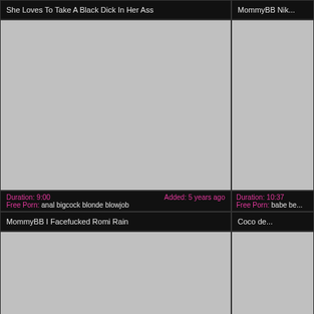She Loves To Take A Black Dick In Her Ass
[Figure (photo): Video thumbnail placeholder, gray rectangle]
Duration: 9:00   Added: 5 years ago
Free Porn: anal bigcock blonde blowjob
MommyBB Nik...
[Figure (photo): Video thumbnail placeholder, gray rectangle]
Duration: 10:37
Free Porn: babe be...
MommyBB I Facefucked Romi Rain
[Figure (photo): Video thumbnail placeholder, gray rectangle]
Coco de...
[Figure (photo): Video thumbnail placeholder, gray rectangle]